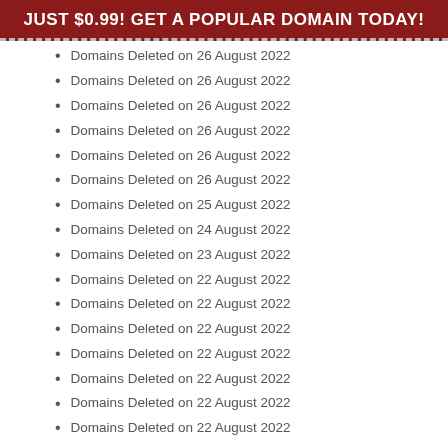JUST $0.99! GET A POPULAR DOMAIN TODAY!
Domains Deleted on 26 August 2022
Domains Deleted on 26 August 2022
Domains Deleted on 26 August 2022
Domains Deleted on 26 August 2022
Domains Deleted on 26 August 2022
Domains Deleted on 26 August 2022
Domains Deleted on 25 August 2022
Domains Deleted on 24 August 2022
Domains Deleted on 23 August 2022
Domains Deleted on 22 August 2022
Domains Deleted on 22 August 2022
Domains Deleted on 22 August 2022
Domains Deleted on 22 August 2022
Domains Deleted on 22 August 2022
Domains Deleted on 22 August 2022
Domains Deleted on 22 August 2022
Domains Deleted on 22 August 2022
...click for more
© Copyright 2020 Dubdomain.com. All right reserved. Powered by DUBDOMAIN | About | Contact Us